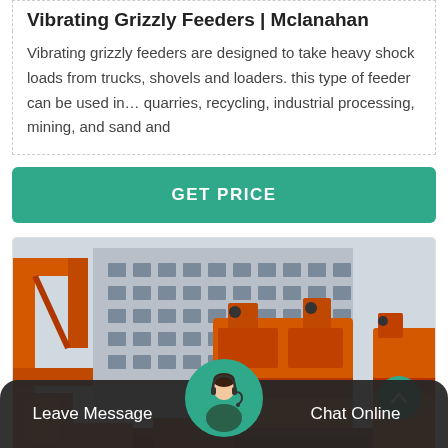Vibrating Grizzly Feeders | Mclanahan
Vibrating grizzly feeders are designed to take heavy shock loads from trucks, shovels and loaders. this type of feeder can be used in… quarries, recycling, industrial processing, mining, and sand and
GET PRICE
[Figure (photo): Large orange industrial mining/crushing machinery equipment in a factory yard with a multi-story building in the background. Heavy machinery including crushers and feeders painted bright orange.]
Leave Message
Chat Online